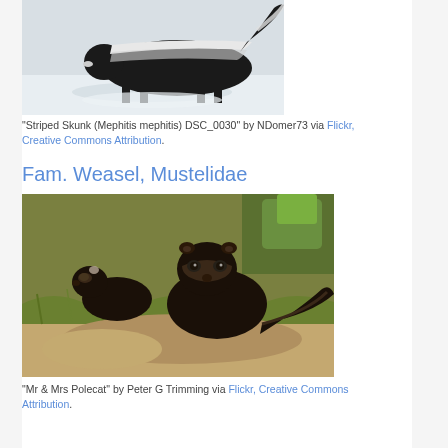[Figure (photo): Striped skunk walking on snow, dark fur with white stripes, photographed from the side]
"Striped Skunk (Mephitis mephitis) DSC_0030" by NDomer73 via Flickr, Creative Commons Attribution.
Fam. Weasel, Mustelidae
[Figure (photo): Two polecats (Mr & Mrs Polecat) sitting together in grassy habitat, dark brown/black fur with lighter facial markings]
"Mr & Mrs Polecat" by Peter G Trimming via Flickr, Creative Commons Attribution.